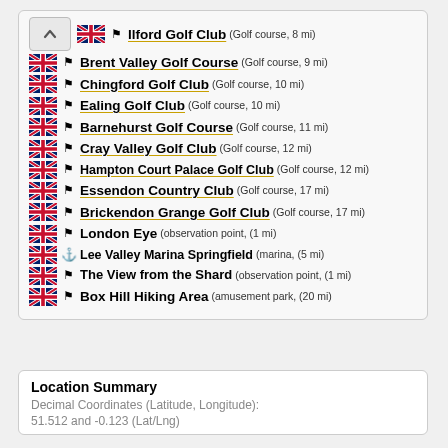Ilford Golf Club (Golf course, 8 mi)
Brent Valley Golf Course (Golf course, 9 mi)
Chingford Golf Club (Golf course, 10 mi)
Ealing Golf Club (Golf course, 10 mi)
Barnehurst Golf Course (Golf course, 11 mi)
Cray Valley Golf Club (Golf course, 12 mi)
Hampton Court Palace Golf Club (Golf course, 12 mi)
Essendon Country Club (Golf course, 17 mi)
Brickendon Grange Golf Club (Golf course, 17 mi)
London Eye (observation point, (1 mi)
Lee Valley Marina Springfield (marina, (5 mi)
The View from the Shard (observation point, (1 mi)
Box Hill Hiking Area (amusement park, (20 mi)
Location Summary
Decimal Coordinates (Latitude, Longitude):
51.512 and -0.123 (Lat/Lng)